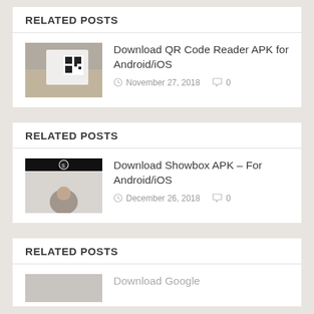RELATED POSTS
[Figure (photo): Hand holding a card with a QR code on it]
Download QR Code Reader APK for Android/iOS
November 27, 2018   0
RELATED POSTS
[Figure (photo): Showbox app logo and a woman looking down]
Download Showbox APK – For Android/iOS
December 26, 2018   0
RELATED POSTS
Download Google